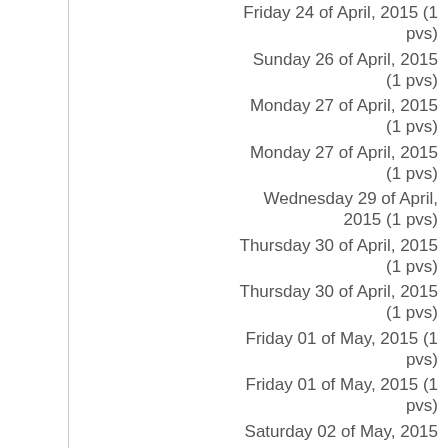Friday 24 of April, 2015 (1 pvs)
Sunday 26 of April, 2015 (1 pvs)
Monday 27 of April, 2015 (1 pvs)
Monday 27 of April, 2015 (1 pvs)
Wednesday 29 of April, 2015 (1 pvs)
Thursday 30 of April, 2015 (1 pvs)
Thursday 30 of April, 2015 (1 pvs)
Friday 01 of May, 2015 (1 pvs)
Friday 01 of May, 2015 (1 pvs)
Saturday 02 of May, 2015